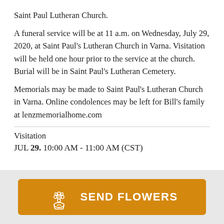Saint Paul Lutheran Church.
A funeral service will be at 11 a.m. on Wednesday, July 29, 2020, at Saint Paul's Lutheran Church in Varna. Visitation will be held one hour prior to the service at the church. Burial will be in Saint Paul's Lutheran Cemetery.
Memorials may be made to Saint Paul's Lutheran Church in Varna. Online condolences may be left for Bill's family at lenzmemorialhome.com
Visitation
JUL 29. 10:00 AM - 11:00 AM (CST)
[Figure (illustration): Orange 'Send Flowers' button with a flower bouquet icon]